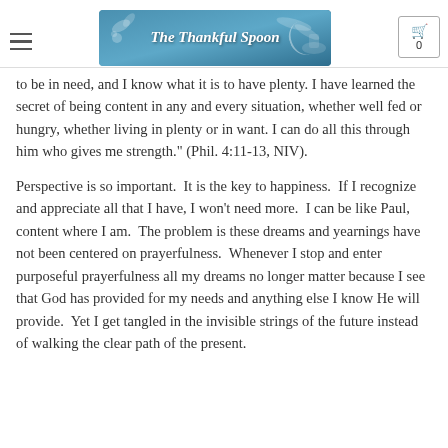The Thankful Spoon
to be in need, and I know what it is to have plenty. I have learned the secret of being content in any and every situation, whether well fed or hungry, whether living in plenty or in want. I can do all this through him who gives me strength." (Phil. 4:11-13, NIV).
Perspective is so important.  It is the key to happiness.  If I recognize and appreciate all that I have, I won't need more.  I can be like Paul, content where I am.  The problem is these dreams and yearnings have not been centered on prayerfulness.  Whenever I stop and enter purposeful prayerfulness all my dreams no longer matter because I see that God has provided for my needs and anything else I know He will provide.  Yet I get tangled in the invisible strings of the future instead of walking the clear path of the present.